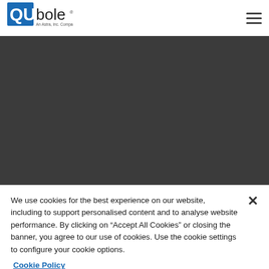[Figure (logo): Qubole logo — blue square with 'QU' text and 'bole' wordmark, subtitle 'An Astra, Inc. Company']
[Figure (photo): Dark gray hero banner area]
We use cookies for the best experience on our website, including to support personalised content and to analyse website performance. By clicking on “Accept All Cookies” or closing the banner, you agree to our use of cookies. Use the cookie settings to configure your cookie options.
Cookie Policy
Cookie Settings
Accept All Cookies